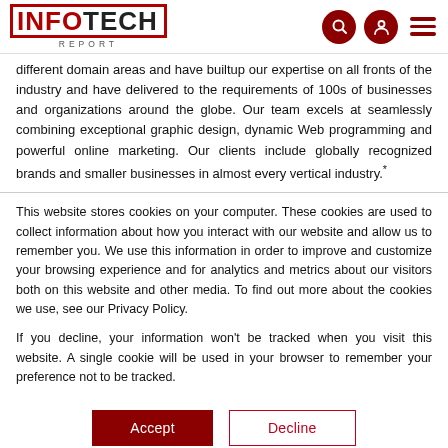INFOTECH REPORT
different domain areas and have builtup our expertise on all fronts of the industry and have delivered to the requirements of 100s of businesses and organizations around the globe. Our team excels at seamlessly combining exceptional graphic design, dynamic Web programming and powerful online marketing. Our clients include globally recognized brands and smaller businesses in almost every vertical industry.*
This website stores cookies on your computer. These cookies are used to collect information about how you interact with our website and allow us to remember you. We use this information in order to improve and customize your browsing experience and for analytics and metrics about our visitors both on this website and other media. To find out more about the cookies we use, see our Privacy Policy.
If you decline, your information won't be tracked when you visit this website. A single cookie will be used in your browser to remember your preference not to be tracked.
Accept | Decline